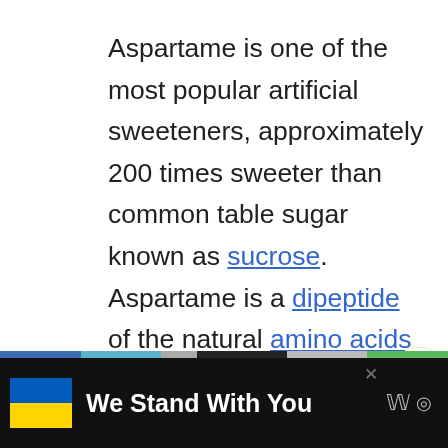Aspartame is one of the most popular artificial sweeteners, approximately 200 times sweeter than common table sugar known as sucrose. Aspartame is a dipeptide of the natural amino acids L–aspartic acid and L–phenylalanine.
[Figure (screenshot): Gray content area below main text paragraph, partially visible UI element with share button (count 0) and share icon.]
[Figure (screenshot): Advertisement banner at bottom: Ukrainian flag icon on left, bold white text 'We Stand With You', dark background with colored stripes at top, social media icons on right.]